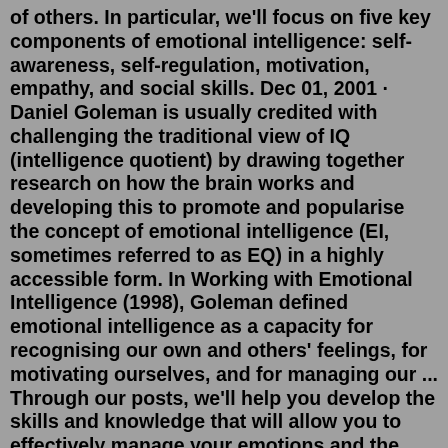of others. In particular, we'll focus on five key components of emotional intelligence: self-awareness, self-regulation, motivation, empathy, and social skills. Dec 01, 2001 · Daniel Goleman is usually credited with challenging the traditional view of IQ (intelligence quotient) by drawing together research on how the brain works and developing this to promote and popularise the concept of emotional intelligence (EI, sometimes referred to as EQ) in a highly accessible form. In Working with Emotional Intelligence (1998), Goleman defined emotional intelligence as a capacity for recognising our own and others' feelings, for motivating ourselves, and for managing our ... Through our posts, we'll help you develop the skills and knowledge that will allow you to effectively manage your emotions and the emotions of others. In particular, we'll focus on five key components of emotional intelligence: self-awareness, self-regulation, motivation, empathy, and social skills. the concept of emotional intelligence (EI, sometimes referred to as EQ) in a highly accessible form. In